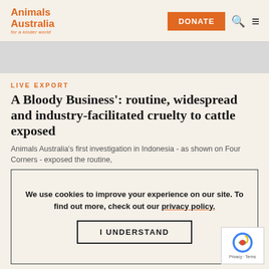Animals Australia for a kinder world | DONATE
[Figure (screenshot): Gray banner/image placeholder area below the navigation header]
LIVE EXPORT
A Bloody Business': routine, widespread and industry-facilitated cruelty to cattle exposed
Animals Australia's first investigation in Indonesia - as shown on Four Corners - exposed the routine,
We use cookies to improve your experience on our site. To find out more, check out our privacy policy.
I UNDERSTAND